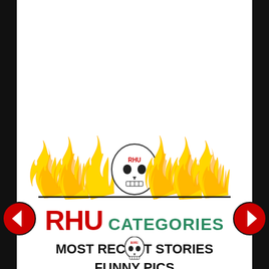[Figure (logo): RHU logo with flames and skull, 'RHU' in large red bold text and 'CATEGORIES' in green bold text]
MOST RECENT STORIES
FUNNY PICS
[Figure (illustration): Left red circle navigation arrow pointing left]
[Figure (illustration): Right red circle navigation arrow pointing right]
[Figure (logo): Small RHU skull logo at bottom center]